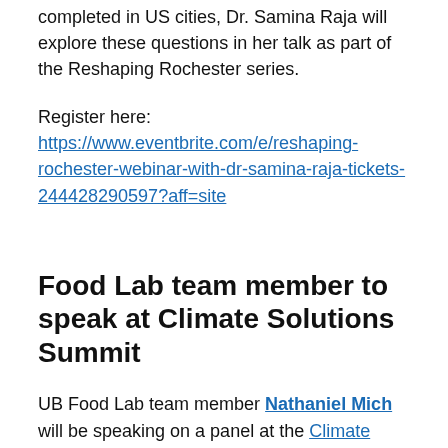completed in US cities, Dr. Samina Raja will explore these questions in her talk as part of the Reshaping Rochester series.
Register here: https://www.eventbrite.com/e/reshaping-rochester-webinar-with-dr-samina-raja-tickets-244428290597?aff=site
Food Lab team member to speak at Climate Solutions Summit
UB Food Lab team member Nathaniel Mich will be speaking on a panel at the Climate Solutions Summit with a focus on the Genesee-Finger Lakes region. The Summit will focus on climate solutions, and will build